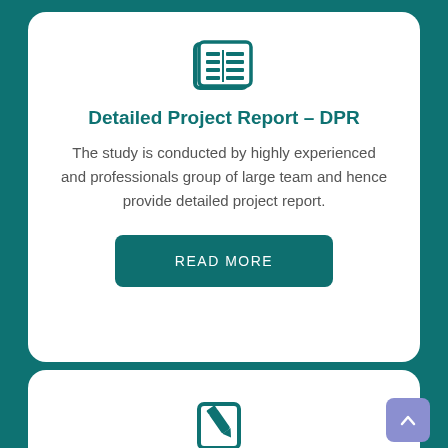[Figure (illustration): Newspaper/document icon in teal color]
Detailed Project Report – DPR
The study is conducted by highly experienced and professionals group of large team and hence provide detailed project report.
READ MORE
[Figure (illustration): Edit/pencil document icon in teal color]
EPC
GreenZo Energy provides complete solution for